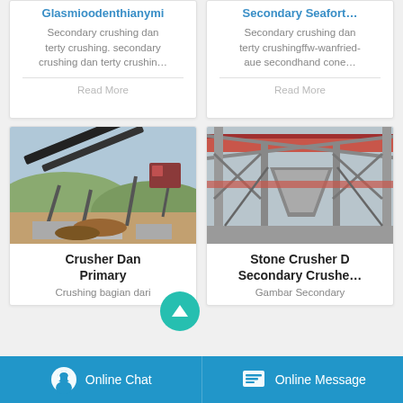Glasmioodenthianymi
Secondary crushing dan terty crushing. secondary crushing dan terty crushin…
Read More
Secondary Seafort…
Secondary crushing dan terty crushingffw-wanfried-aue secondhand cone…
Read More
[Figure (photo): Outdoor quarry stone crushing plant with conveyor belts and machinery on hillside]
Crusher Dan Primary
Crushing bagian dari
[Figure (photo): Industrial stone crusher secondary crushing steel structure facility]
Stone Crusher Dan Secondary Crushe…
Gambar Secondary
Online Chat   Online Message